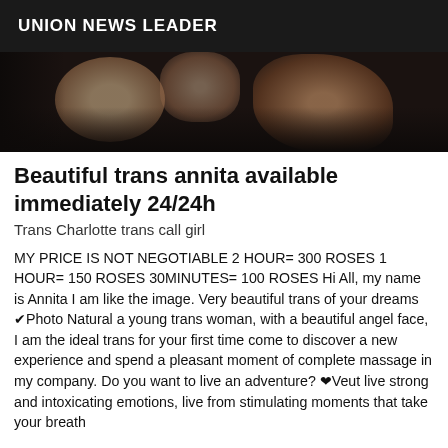UNION NEWS LEADER
[Figure (photo): Dark close-up photo of a person, mostly shadowed tones of brown and black]
Beautiful trans annita available immediately 24/24h
Trans Charlotte trans call girl
MY PRICE IS NOT NEGOTIABLE 2 HOUR= 300 ROSES 1 HOUR= 150 ROSES 30MINUTES= 100 ROSES Hi All, my name is Annita I am like the image. Very beautiful trans of your dreams ✔Photo Natural a young trans woman, with a beautiful angel face, I am the ideal trans for your first time come to discover a new experience and spend a pleasant moment of complete massage in my company. Do you want to live an adventure? ❤Veut live strong and intoxicating emotions, live from stimulating moments that take your breath away ❤